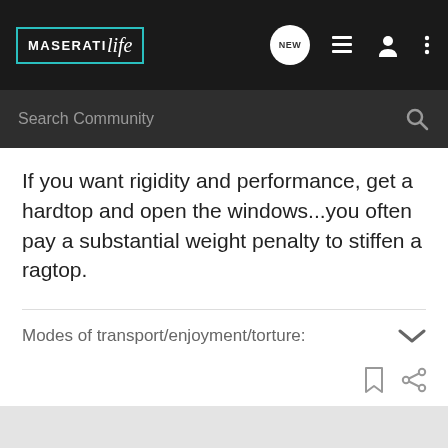[Figure (screenshot): MaseratiLife forum website navigation bar with logo, NEW chat bubble, list icon, user icon, and three-dot menu icon on dark background]
[Figure (screenshot): Search Community search bar on dark background]
If you want rigidity and performance, get a hardtop and open the windows...you often pay a substantial weight penalty to stiffen a ragtop.
Modes of transport/enjoyment/torture:
[Figure (screenshot): Bookmark and share icons at bottom of post]